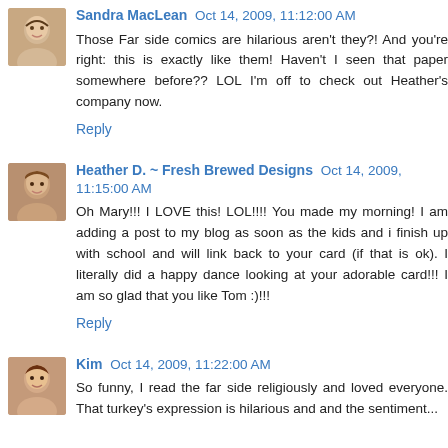Sandra MacLean  Oct 14, 2009, 11:12:00 AM
Those Far side comics are hilarious aren't they?! And you're right: this is exactly like them! Haven't I seen that paper somewhere before?? LOL I'm off to check out Heather's company now.
Reply
Heather D. ~ Fresh Brewed Designs  Oct 14, 2009, 11:15:00 AM
Oh Mary!!! I LOVE this! LOL!!!! You made my morning! I am adding a post to my blog as soon as the kids and i finish up with school and will link back to your card (if that is ok). I literally did a happy dance looking at your adorable card!!! I am so glad that you like Tom :)!!!
Reply
Kim  Oct 14, 2009, 11:22:00 AM
So funny, I read the far side religiously and loved everyone. That turkey's expression is hilarious and and the sentiment...